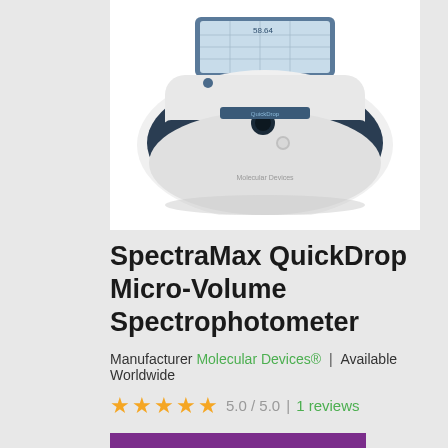[Figure (photo): Photo of a SpectraMax QuickDrop Micro-Volume Spectrophotometer — a compact white and dark navy instrument with a touchscreen display and sample port, shown on white background]
SpectraMax QuickDrop Micro-Volume Spectrophotometer
Manufacturer Molecular Devices® | Available Worldwide
5.0 / 5.0 | 1 reviews
Request Pricing